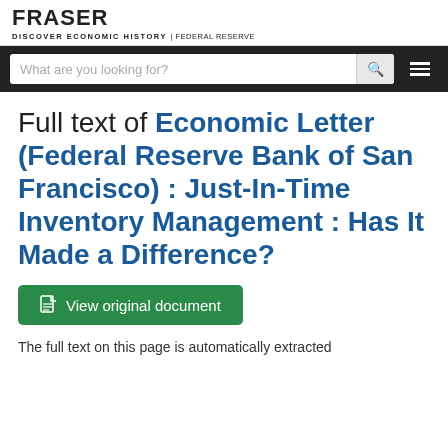FRASER DISCOVER ECONOMIC HISTORY | FEDERAL RESERVE
Full text of Economic Letter (Federal Reserve Bank of San Francisco) : Just-In-Time Inventory Management : Has It Made a Difference?
View original document
The full text on this page is automatically extracted